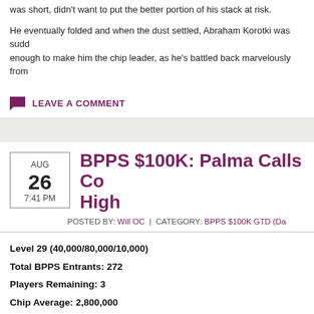was short, didn't want to put the better portion of his stack at risk.
He eventually folded and when the dust settled, Abraham Korotki was suddenly enough to make him the chip leader, as he's battled back marvelously from
LEAVE A COMMENT
BPPS $100K: Palma Calls Co... High
POSTED BY: Will OC | CATEGORY: BPPS $100K GTD (Da...
Level 29 (40,000/80,000/10,000)
Total BPPS Entrants: 272
Players Remaining: 3
Chip Average: 2,800,000
[Figure (photo): Photo of player wearing red hat at poker tournament]
While it might not have been for a m... perhaps the call of the tournament to...